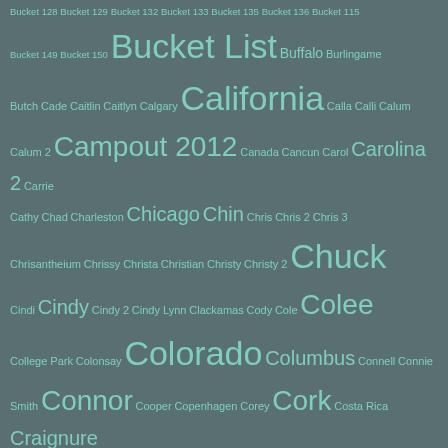Bucket 128 Bucket 129 Bucket 132 Bucket 133 Bucket 135 Bucket 136 Bucket 115 Bucket 149 Bucket 150 Bucket List Buffalo Burlingame Butch Cade Caitlin Caitlyn Calgary California Calla Calli Calum Calum 2 Campout 2012 Canada Cancun Carol Carolina 2 Carrie Cathy Chad Charleston Chicago Chin Chris Chris 2 Chris 3 Chrisantheium Chrissy Christa Christian Christy Christy 2 Chuck Cindi Cindy Cindy 2 Cindy Lynn Clackamas Cody Cole Colee College Park Colonsay Colorado Columbus Connell Connie Smith Connor Cooper Copenhagen Corey Cork Costa Rica Craignure crashpad Crianlarich Crianlarich > Oban D'Lene Dale Dalmally Dalmuir Dalmuir > Fort William Dan Dan 2 Dania Daren Darrien Daryl Dav's Addiction TV Dave Dave 2 David Dawn Debbie Deborah DEN > DTW DEN > RKV DEN > SFO Denise Denmark Denver Denver > Salt Lake City Derrybawn Detroit Diane Dicky Dingle Dominoe Doug Drew DTW > SWF Dublin Dumfries Dumfries > Kilmarnock Duncan